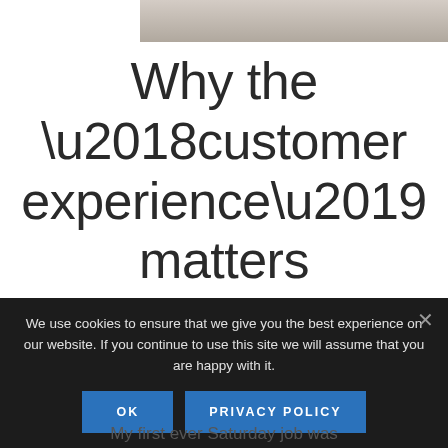[Figure (photo): Partial photo strip at the top of the page showing a person, cropped at top]
Why the ‘customer experience’ matters
We use cookies to ensure that we give you the best experience on our website. If you continue to use this site we will assume that you are happy with it.
OK   PRIVACY POLICY
My first ever Saturday job was